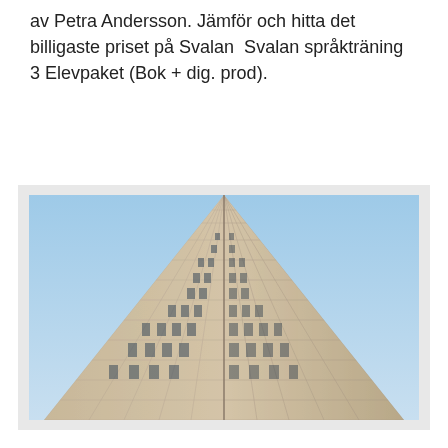av Petra Andersson. Jämför och hitta det billigaste priset på Svalan  Svalan språkträning 3 Elevpaket (Bok + dig. prod).
[Figure (photo): Upward perspective photograph of a tall modernist skyscraper with a grid facade of concrete panels and windows, tapering toward the top against a blue sky.]